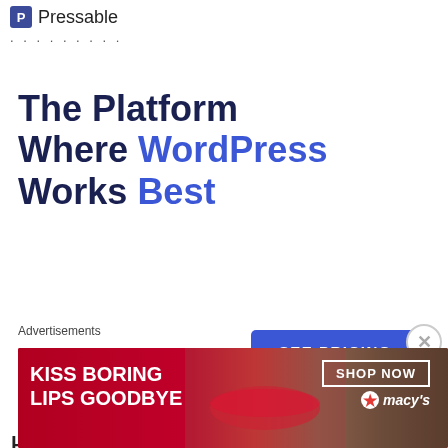[Figure (logo): Pressable logo with blue P icon and dotted separator line]
The Platform Where WordPress Works Best
[Figure (other): SEE PRICING button in blue]
REPORT THIS AD
Happy Cooking 🙂 🙂
[Figure (other): X close button circle]
Advertisements
[Figure (photo): Macy's ad banner: KISS BORING LIPS GOODBYE with SHOP NOW button and Macy's star logo on red background]